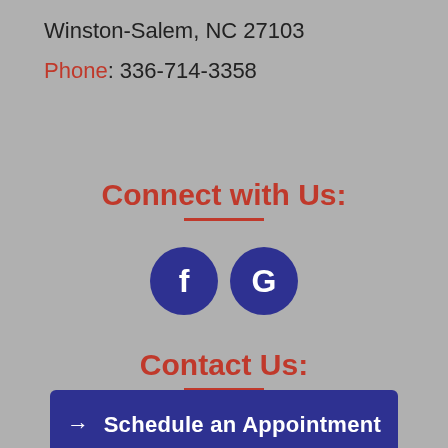Winston-Salem, NC 27103
Phone: 336-714-3358
Connect with Us:
[Figure (illustration): Two circular social media icon buttons side by side: Facebook (f) and Google (G), both in dark blue/navy circles on grey background.]
Contact Us:
→ Schedule an Appointment